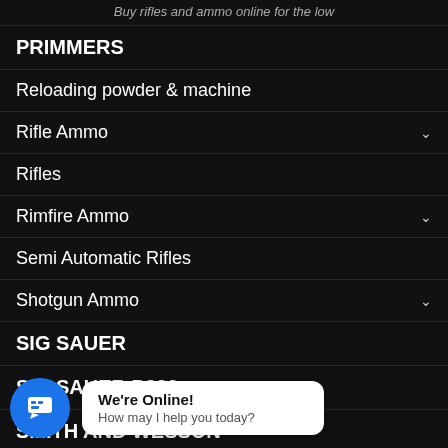Buy rifles and ammo online for the low
PRIMMERS
Reloading powder & machine
Rifle Ammo
Rifles
Rimfire Ammo
Semi Automatic Rifles
Shotgun Ammo
SIG SAUER
SIG SAUER P320
SMITH AND WESSON
We're Online! How may I help you today?